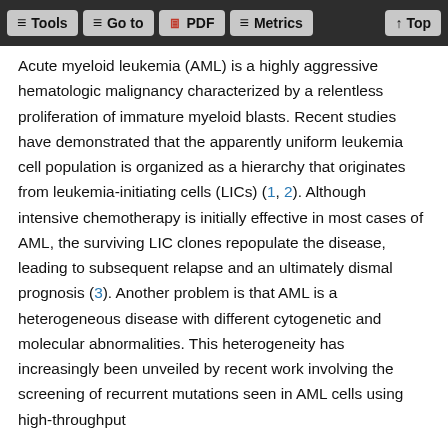Tools  Go to  PDF  Metrics  Top
Acute myeloid leukemia (AML) is a highly aggressive hematologic malignancy characterized by a relentless proliferation of immature myeloid blasts. Recent studies have demonstrated that the apparently uniform leukemia cell population is organized as a hierarchy that originates from leukemia-initiating cells (LICs) (1, 2). Although intensive chemotherapy is initially effective in most cases of AML, the surviving LIC clones repopulate the disease, leading to subsequent relapse and an ultimately dismal prognosis (3). Another problem is that AML is a heterogeneous disease with different cytogenetic and molecular abnormalities. This heterogeneity has increasingly been unveiled by recent work involving the screening of recurrent mutations seen in AML cells using high-throughput